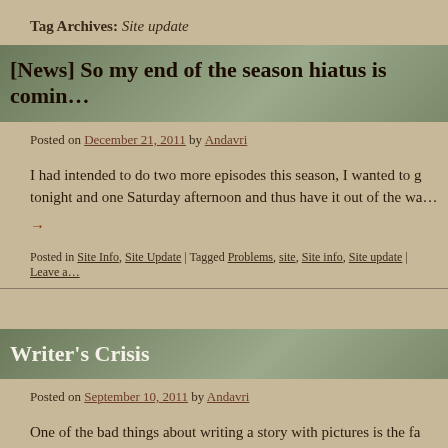Tag Archives: Site update
[News] So my end of the season hiatus is coming…
Posted on December 21, 2011 by Andavri
I had intended to do two more episodes this season, I wanted to get one out tonight and one Saturday afternoon and thus have it out of the wa… →
Posted in Site Info, Site Update | Tagged Problems, site, Site info, Site update | Leave a…
Writer's Crisis
Posted on September 10, 2011 by Andavri
One of the bad things about writing a story with pictures is the fact that what your episode will be about isn't what your inspiration says it will be about… week. … Continue reading →